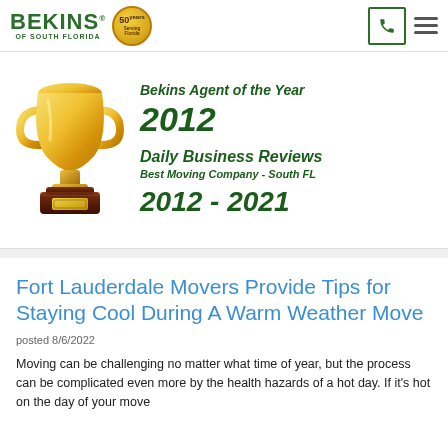Bekins of South Florida — 50 Years in Business
[Figure (illustration): Gold trophy cup with dark wood base and gold plaque, alongside award text: Bekins Agent of the Year 2012, Daily Business Reviews Best Moving Company - South FL 2012 - 2021]
Fort Lauderdale Movers Provide Tips for Staying Cool During A Warm Weather Move
posted 8/6/2022
Moving can be challenging no matter what time of year, but the process can be complicated even more by the health hazards of a hot day. If it's hot on the day of your move